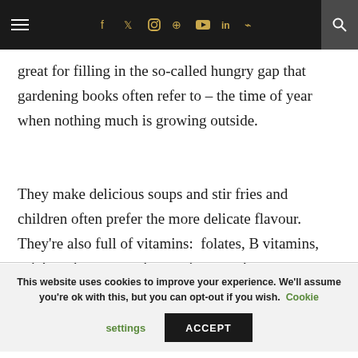≡ f t ⊙ p ▶ in ᯤ 🔍
great for filling in the so-called hungry gap that gardening books often refer to – the time of year when nothing much is growing outside.
They make delicious soups and stir fries and children often prefer the more delicate flavour. They're also full of vitamins:  folates, B vitamins, calcium, iron, potassium and magnesium.
This website uses cookies to improve your experience. We'll assume you're ok with this, but you can opt-out if you wish. Cookie settings ACCEPT